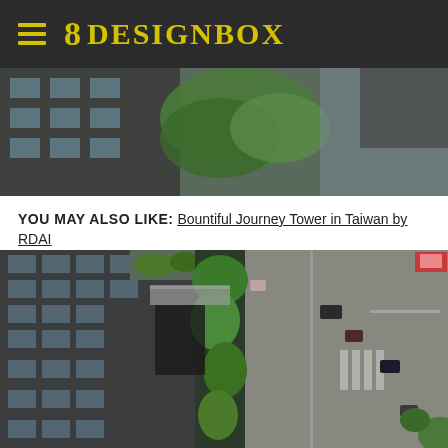☰ 8DESIGNBOX
[Figure (photo): Aerial/overhead photo of a modern building with green vegetation and street view, partially visible at top of page]
YOU MAY ALSO LIKE: Bountiful Journey Tower in Taiwan by RDAI
[Figure (photo): Aerial view of a modern high-rise building with glass facade, green vertical garden, rooftop planters, and urban street intersection with cars visible]